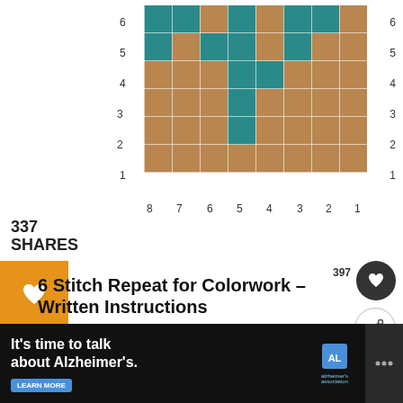[Figure (other): Colorwork stitch chart grid 8 columns x 6 rows with teal and tan/brown colored squares, numbered rows 1-6 on sides and columns 1-8 on bottom]
337
SHARES
6 Stitch Repeat for Colorwork – Written Instructions
Rnd 1: (A) x 6
[Figure (infographic): Advertisement: It's time to talk about Alzheimer's. LEARN MORE. Alzheimer's association logo.]